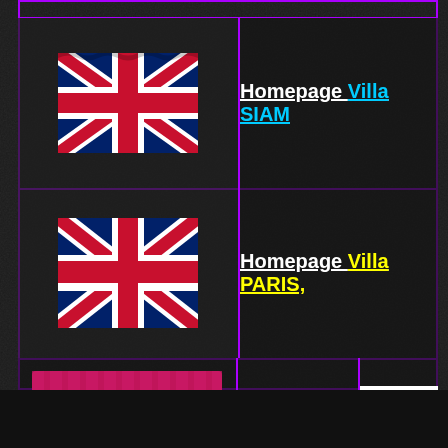[Figure (screenshot): UK flag / Union Jack waving, row 1]
Homepage Villa SIAM
[Figure (screenshot): UK flag / Union Jack waving, row 2]
Homepage Villa PARIS,
[Figure (logo): Villa Siam P&M logo on pink/magenta background with gold chevron]
Villa SIAM
Chaweng Noî
[Figure (logo): Partial white logo box showing 'VILL' text]